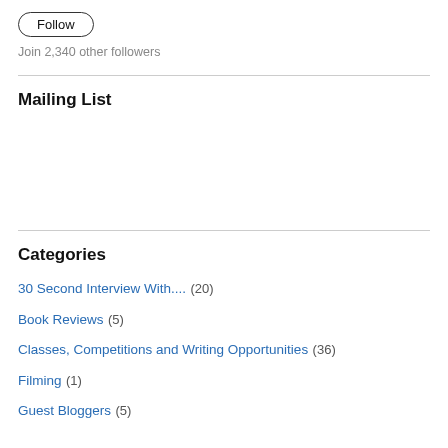Follow
Join 2,340 other followers
Mailing List
Categories
30 Second Interview With.... (20)
Book Reviews (5)
Classes, Competitions and Writing Opportunities (36)
Filming (1)
Guest Bloggers (5)